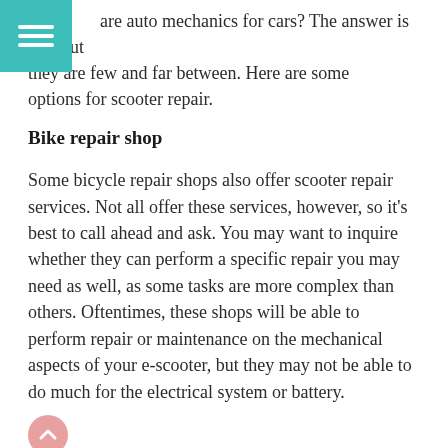are auto mechanics for cars? The answer is yes, but they are few and far between. Here are some options for scooter repair.
Bike repair shop
Some bicycle repair shops also offer scooter repair services. Not all offer these services, however, so it’s best to call ahead and ask. You may want to inquire whether they can perform a specific repair you may need as well, as some tasks are more complex than others. Oftentimes, these shops will be able to perform repair or maintenance on the mechanical aspects of your e-scooter, but they may not be able to do much for the electrical system or battery.
Check your warranty